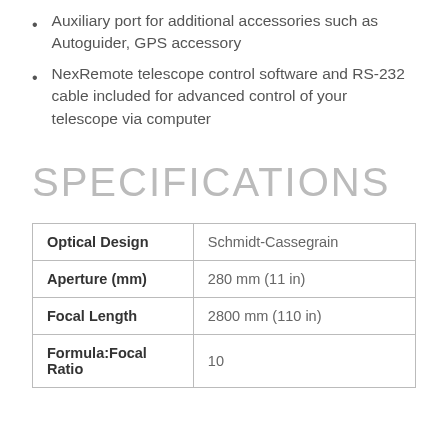Auxiliary port for additional accessories such as Autoguider, GPS accessory
NexRemote telescope control software and RS-232 cable included for advanced control of your telescope via computer
SPECIFICATIONS
|  |  |
| --- | --- |
| Optical Design | Schmidt-Cassegrain |
| Aperture (mm) | 280 mm (11 in) |
| Focal Length | 2800 mm (110 in) |
| Formula:Focal Ratio | 10 |